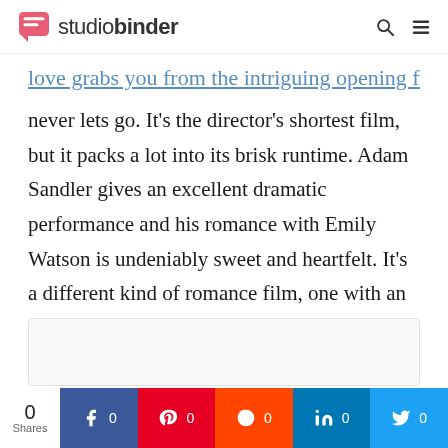studiobinder
love grabs you from the intriguing opening frame and never lets go. It's the director's shortest film, but it packs a lot into its brisk runtime. Adam Sandler gives an excellent dramatic performance and his romance with Emily Watson is undeniably sweet and heartfelt. It's a different kind of romance film, one with an angry edge and spontaneous bursts of humor.
TOP HBO MOVIES
In Short
0 Shares  f 0  p 0  reddit 0  in 0  twitter 0